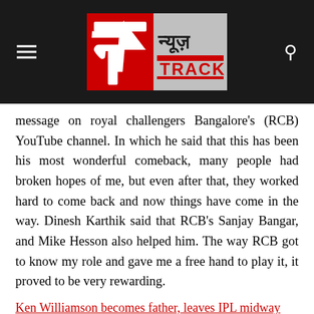[Figure (logo): News Track logo with Hindi text न्यूज़ TRACK on dark header bar]
message on royal challengers Bangalore's (RCB) YouTube channel. In which he said that this has been his most wonderful comeback, many people had broken hopes of me, but even after that, they worked hard to come back and now things have come in the way. Dinesh Karthik said that RCB's Sanjay Bangar, and Mike Hesson also helped him. The way RCB got to know my role and gave me a free hand to play it, it proved to be very rewarding.
Ken Williamson becomes father, leaves IPL midway and reaches home, shares son's photo
Shikhar Dhawan created history, became the first